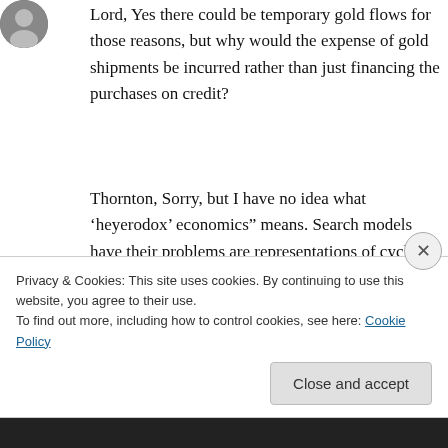[Figure (illustration): Circular avatar/profile image of a person, dark tones]
Lord, Yes there could be temporary gold flows for those reasons, but why would the expense of gold shipments be incurred rather than just financing the purchases on credit?
Thornton, Sorry, but I have no idea what ‘heyerodox’ economics” means. Search models have their problems are representations of cyclical phenomena in labor markets, as I have acknowledged in several posts, but that doesn’t
Privacy & Cookies: This site uses cookies. By continuing to use this website, you agree to their use.
To find out more, including how to control cookies, see here: Cookie Policy
Close and accept